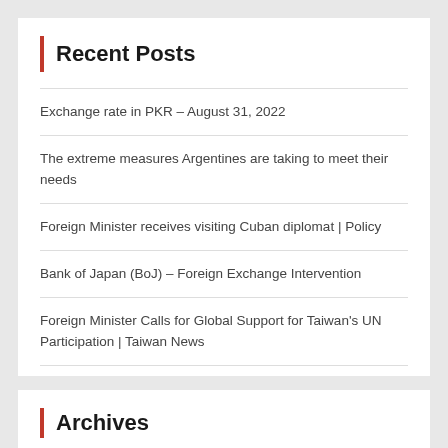Recent Posts
Exchange rate in PKR – August 31, 2022
The extreme measures Argentines are taking to meet their needs
Foreign Minister receives visiting Cuban diplomat | Policy
Bank of Japan (BoJ) – Foreign Exchange Intervention
Foreign Minister Calls for Global Support for Taiwan's UN Participation | Taiwan News
Archives
August 2022
July 2022
June 2022